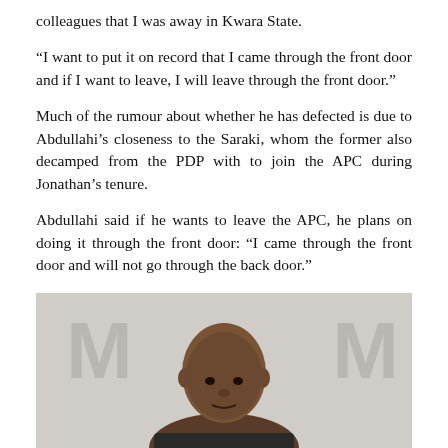colleagues that I was away in Kwara State.
“I want to put it on record that I came through the front door and if I want to leave, I will leave through the front door.”
Much of the rumour about whether he has defected is due to Abdullahi’s closeness to the Saraki, whom the former also decamped from the PDP with to join the APC during Jonathan’s tenure.
Abdullahi said if he wants to leave the APC, he plans on doing it through the front door: “I came through the front door and will not go through the back door.”
[Figure (photo): Portrait photograph of a man (Abdullahi) against a light background with faint watermark text]